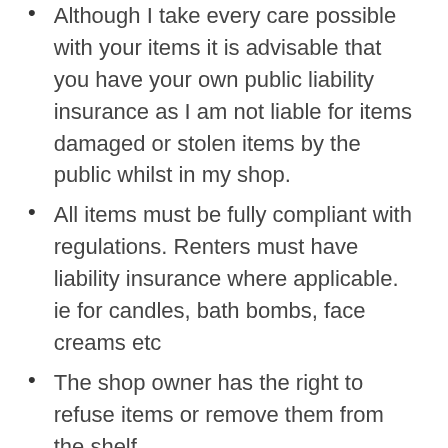Although I take every care possible with your items it is advisable that you have your own public liability insurance as I am not liable for items damaged or stolen items by the public whilst in my shop.
All items must be fully compliant with regulations. Renters must have liability insurance where applicable. ie for candles, bath bombs, face creams etc
The shop owner has the right to refuse items or remove them from the shelf.
You may use your shelf for